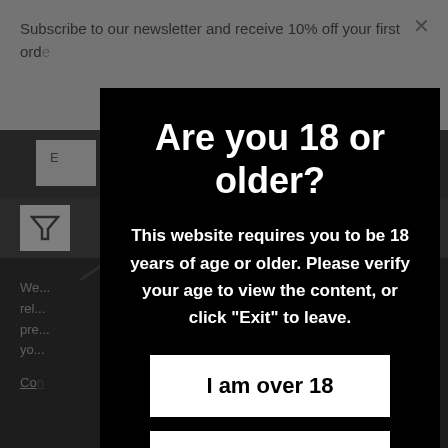Subscribe to our newsletter and receive 10% off your first ord...
[Figure (screenshot): Background website interface showing search bar, filter icon, and dark content area]
Are you 18 or older?
This website requires you to be 18 years of age or older. Please verify your age to view the content, or click "Exit" to leave.
I am over 18
Exit